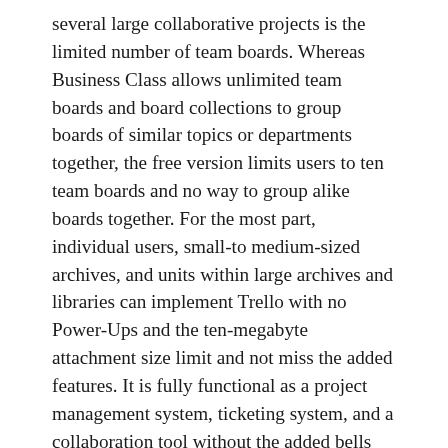several large collaborative projects is the limited number of team boards. Whereas Business Class allows unlimited team boards and board collections to group boards of similar topics or departments together, the free version limits users to ten team boards and no way to group alike boards together. For the most part, individual users, small-to medium-sized archives, and units within large archives and libraries can implement Trello with no Power-Ups and the ten-megabyte attachment size limit and not miss the added features. It is fully functional as a project management system, ticketing system, and a collaboration tool without the added bells and whistles.
Overall, Trello's simple concept and design allow for flexibility and adaptability that opens the web tool for everyone to use, including archivists. The free version is great for lone arrangers and small-